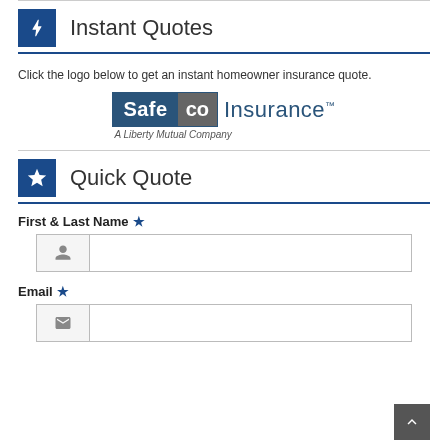Instant Quotes
Click the logo below to get an instant homeowner insurance quote.
[Figure (logo): Safeco Insurance – A Liberty Mutual Company logo]
Quick Quote
First & Last Name *
Email *